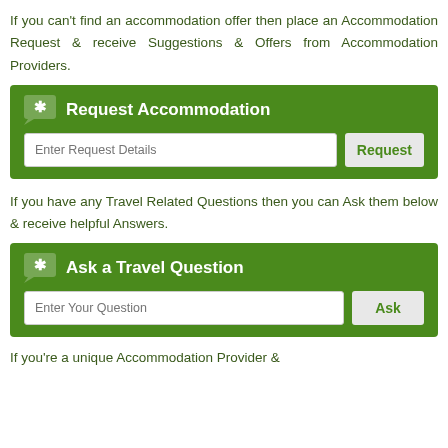If you can't find an accommodation offer then place an Accommodation Request & receive Suggestions & Offers from Accommodation Providers.
[Figure (screenshot): Green box with chat icon and 'Request Accommodation' title, an input field 'Enter Request Details' and a 'Request' button.]
If you have any Travel Related Questions then you can Ask them below & receive helpful Answers.
[Figure (screenshot): Green box with chat icon and 'Ask a Travel Question' title, an input field 'Enter Your Question' and an 'Ask' button.]
If you're a unique Accommodation Provider &